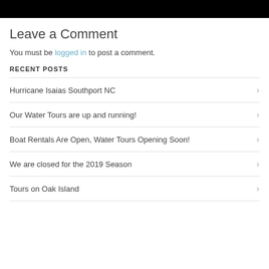[Figure (photo): Black bar image at top of page]
Leave a Comment
You must be logged in to post a comment.
RECENT POSTS
Hurricane Isaias Southport NC
Our Water Tours are up and running!
Boat Rentals Are Open, Water Tours Opening Soon!
We are closed for the 2019 Season
Tours on Oak Island